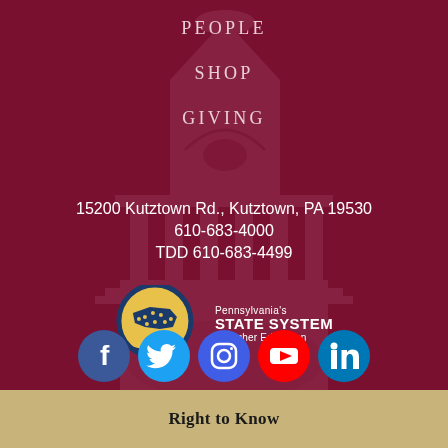PEOPLE
SHOP
GIVING
15200 Kutztown Rd., Kutztown, PA 19530
610-683-4000
TDD 610-683-4499
[Figure (logo): Pennsylvania's State System of Higher Education logo — circular emblem with PA state map on gold background with blue border, next to text reading Pennsylvania's STATE SYSTEM of Higher Education]
[Figure (infographic): Social media icons row: Facebook (blue circle), Twitter (light blue circle), Instagram (dark blue/gray circle), YouTube (red circle), LinkedIn (blue circle)]
Right to Know